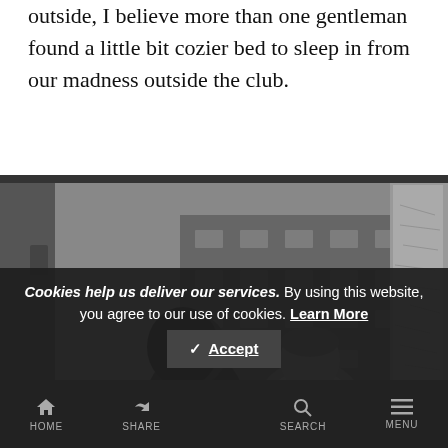outside, I believe more than one gentleman found a little bit cozier bed to sleep in from our madness outside the club.
[Figure (photo): Black and white photograph of two young people sitting inside what appears to be a train compartment. A girl with dark hair is on the left, and a boy with short hair is on the right. The seat fabric has a repeating pattern of the Brandenburg Gate. A map is visible on the right wall.]
Cookies help us deliver our services. By using this website, you agree to our use of cookies. Learn More
HOME  SHARE  SEARCH  MENU